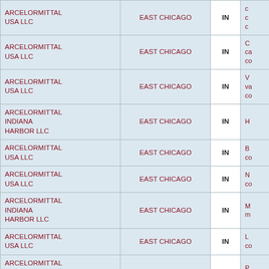| Name | City | State | Description |
| --- | --- | --- | --- |
| ARCELORMITTAL USA LLC | EAST CHICAGO | IN | c... co... |
| ARCELORMITTAL USA LLC | EAST CHICAGO | IN | C... ca... co... |
| ARCELORMITTAL USA LLC | EAST CHICAGO | IN | V... va... co... |
| ARCELORMITTAL INDIANA HARBOR LLC | EAST CHICAGO | IN | H... |
| ARCELORMITTAL USA LLC | EAST CHICAGO | IN | B... co... |
| ARCELORMITTAL USA LLC | EAST CHICAGO | IN | N... co... |
| ARCELORMITTAL INDIANA HARBOR LLC | EAST CHICAGO | IN | M... m... |
| ARCELORMITTAL USA LLC | EAST CHICAGO | IN | L... co... |
| ARCELORMITTAL INDIANA HARBOR LLC | EAST CHICAGO | IN | P... co... |
| ARCELORMITTAL INDIANA HARBOR LLC | EAST CHICAGO | IN | B... |
| ARCELORMITTAL INDIANA... | EAST CHICAGO | IN |  |